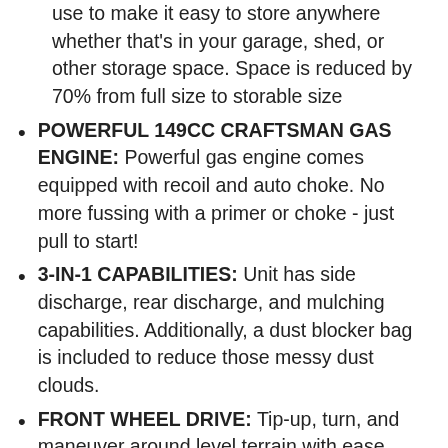use to make it easy to store anywhere whether that's in your garage, shed, or other storage space. Space is reduced by 70% from full size to storable size
POWERFUL 149CC CRAFTSMAN GAS ENGINE: Powerful gas engine comes equipped with recoil and auto choke. No more fussing with a primer or choke - just pull to start!
3-IN-1 CAPABILITIES: Unit has side discharge, rear discharge, and mulching capabilities. Additionally, a dust blocker bag is included to reduce those messy dust clouds.
FRONT WHEEL DRIVE: Tip-up, turn, and maneuver around level terrain with ease.
SELF PROPELLED AND VARIABLE SPEED: Move